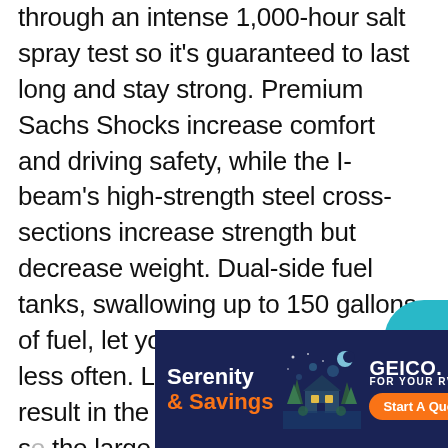through an intense 1,000-hour salt spray test so it's guaranteed to last long and stay strong. Premium Sachs Shocks increase comfort and driving safety, while the I-beam's high-strength steel cross-sections increase strength but decrease weight. Dual-side fuel tanks, swallowing up to 150 gallons of fuel, let you go further and fill up less often. Long road trips usually result in the need for more storage so the large pass-through storage compartments will allow you to carry all the extras. Keeping the Heritage 45A glued to the road are Michelin tires w[...] wheel[...]
[Figure (other): GEICO RV insurance advertisement banner with dark navy background. Left side shows 'Serenity & Savings' text in white and orange. Center shows illustrated scene of a cabin/RV at night. Right side shows GEICO logo with 'FOR YOUR RV' subtitle and orange 'Start A Quote' button.]